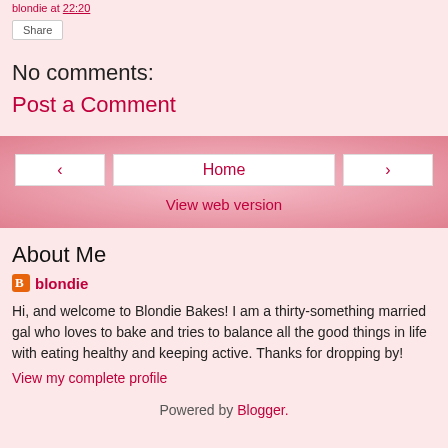blondie at 22:20
Share
No comments:
Post a Comment
Home
View web version
About Me
blondie
Hi, and welcome to Blondie Bakes! I am a thirty-something married gal who loves to bake and tries to balance all the good things in life with eating healthy and keeping active. Thanks for dropping by!
View my complete profile
Powered by Blogger.